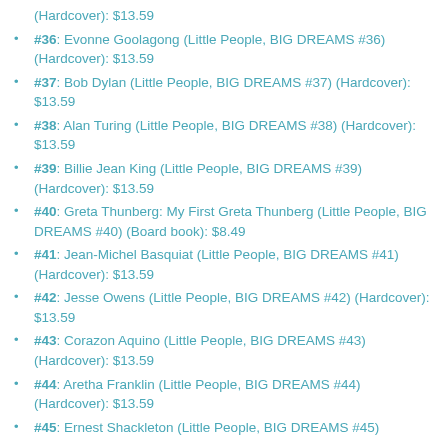(Hardcover): $13.59
#36: Evonne Goolagong (Little People, BIG DREAMS #36) (Hardcover): $13.59
#37: Bob Dylan (Little People, BIG DREAMS #37) (Hardcover): $13.59
#38: Alan Turing (Little People, BIG DREAMS #38) (Hardcover): $13.59
#39: Billie Jean King (Little People, BIG DREAMS #39) (Hardcover): $13.59
#40: Greta Thunberg: My First Greta Thunberg (Little People, BIG DREAMS #40) (Board book): $8.49
#41: Jean-Michel Basquiat (Little People, BIG DREAMS #41) (Hardcover): $13.59
#42: Jesse Owens (Little People, BIG DREAMS #42) (Hardcover): $13.59
#43: Corazon Aquino (Little People, BIG DREAMS #43) (Hardcover): $13.59
#44: Aretha Franklin (Little People, BIG DREAMS #44) (Hardcover): $13.59
#45: Ernest Shackleton (Little People, BIG DREAMS #45)